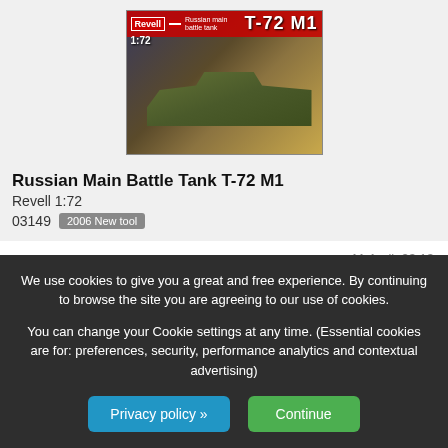[Figure (photo): Revell 1:72 scale model kit box art for Russian Main Battle Tank T-72 M1, showing tank on battlefield background]
Russian Main Battle Tank T-72 M1
Revell 1:72
03149   2006 New tool
11 April, 23:13
[Figure (photo): Avatar thumbnail showing a tank/military vehicle]
Irving González
wants this item
[Figure (photo): Partial Revell T-72 M1 box art strip showing banner and title]
We use cookies to give you a great and free experience. By continuing to browse the site you are agreeing to our use of cookies.

You can change your Cookie settings at any time. (Essential cookies are for: preferences, security, performance analytics and contextual advertising)
Privacy policy »
Continue